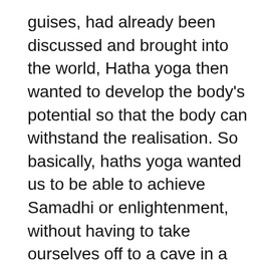guises, had already been discussed and brought into the world, Hatha yoga then wanted to develop the body's potential so that the body can withstand the realisation. So basically, haths yoga wanted us to be able to achieve Samadhi or enlightenment, without having to take ourselves off to a cave in a mountain and live in silent meditation forever.